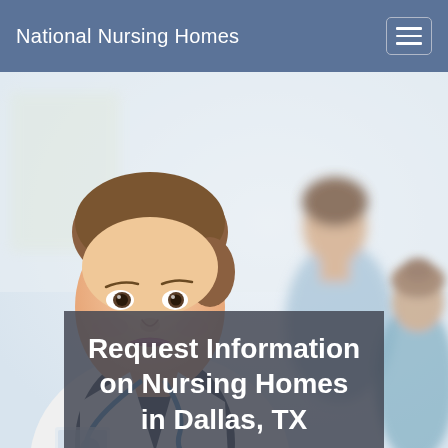National Nursing Homes
[Figure (photo): Healthcare professional (nurse/doctor) in white coat with stethoscope smiling at camera, with blurred background showing a patient in blue and another healthcare worker]
Request Information on Nursing Homes in Dallas, TX